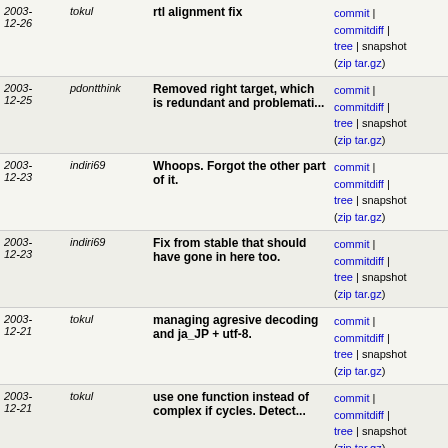| Date | Author | Message | Links |
| --- | --- | --- | --- |
| 2003-12-26 | tokul | rtl alignment fix | commit | commitdiff | tree | snapshot ( zip tar.gz ) |
| 2003-12-25 | pdontthink | Removed right target, which is redundant and problemati... | commit | commitdiff | tree | snapshot ( zip tar.gz ) |
| 2003-12-23 | indiri69 | Whoops. Forgot the other part of it. | commit | commitdiff | tree | snapshot ( zip tar.gz ) |
| 2003-12-23 | indiri69 | Fix from stable that should have gone in here too. | commit | commitdiff | tree | snapshot ( zip tar.gz ) |
| 2003-12-21 | tokul | managing agresive decoding and ja_JP + utf-8. | commit | commitdiff | tree | snapshot ( zip tar.gz ) |
| 2003-12-21 | tokul | use one function instead of complex if cycles. Detect... | commit | commitdiff | tree | snapshot ( zip tar.gz ) |
| 2003-12-21 | tokul | Makes managing decoding easier. Mac decoding moved... | commit | commitdiff | tree | snapshot ( zip tar.gz ) |
| 2003-12-17 | pdontthink | Give compose screen the startMessage | commit | commitdiff | tree | snapshot ( zip tar.gz ) |
| 2003-12-13 | tokul | phpdoc blocks | commit | commitdiff | tree | snapshot ( zip tar.gz ) |
| 2003-12-13 | tokul | if there is some fatal error. not plural. | commit | commitdiff | tree | snapshot ( zip tar.gz ) |